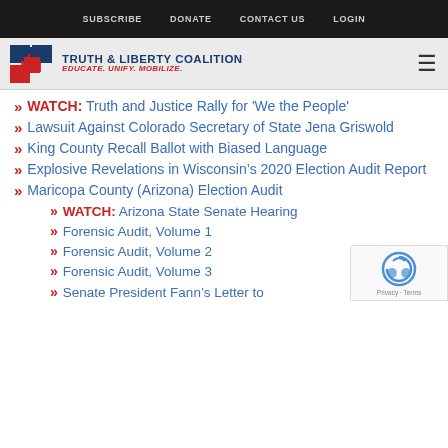SUBSCRIBE  DONATE  CONTACT US  LOGIN
[Figure (logo): Truth & Liberty Coalition logo with blue and red square icon, text 'TRUTH & LIBERTY COALITION' and tagline 'EDUCATE. UNIFY. MOBILIZE.']
WATCH: Truth and Justice Rally for 'We the People'
Lawsuit Against Colorado Secretary of State Jena Griswold
King County Recall Ballot with Biased Language
Explosive Revelations in Wisconsin's 2020 Election Audit Report
Maricopa County (Arizona) Election Audit
WATCH: Arizona State Senate Hearing
Forensic Audit, Volume 1
Forensic Audit, Volume 2
Forensic Audit, Volume 3
Senate President Fann's Letter to...